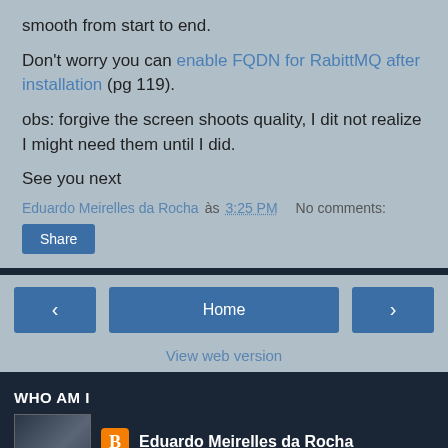smooth from start to end.
Don't worry you can enable FQDN for RabittMQ after installation (pg 119).
obs: forgive the screen shoots quality, I dit not realize I might need them until I did.
See you next
Eduardo Meirelles da Rocha às 3:25 PM   No comments:
Share
Home
View web version
WHO AM I
Eduardo Meirelles da Rocha